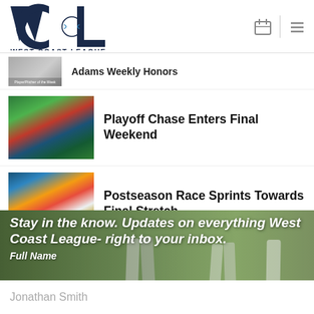WCL West Coast League
Adams Weekly Honors
Playoff Chase Enters Final Weekend
Postseason Race Sprints Towards Final Stretch
Stay in the know. Updates on everything West Coast League- right to your inbox.
Full Name
Jonathan Smith